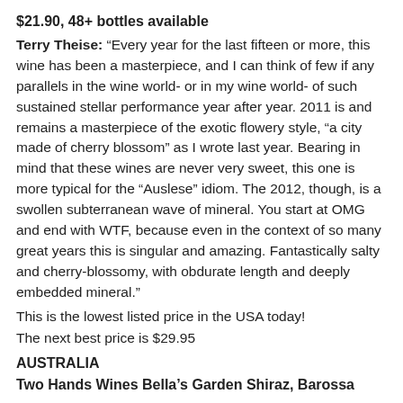$21.90, 48+ bottles available
Terry Theise: “Every year for the last fifteen or more, this wine has been a masterpiece, and I can think of few if any parallels in the wine world- or in my wine world- of such sustained stellar performance year after year. 2011 is and remains a masterpiece of the exotic flowery style, “a city made of cherry blossom” as I wrote last year. Bearing in mind that these wines are never very sweet, this one is more typical for the “Auslese” idiom. The 2012, though, is a swollen subterranean wave of mineral. You start at OMG and end with WTF, because even in the context of so many great years this is singular and amazing. Fantastically salty and cherry-blossomy, with obdurate length and deeply embedded mineral.”
This is the lowest listed price in the USA today!
The next best price is $29.95
AUSTRALIA
Two Hands Wines Bella’s Garden Shiraz, Barossa